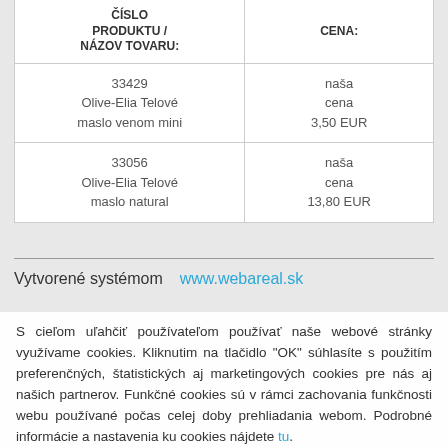| ČÍSLO PRODUKTU / NÁZOV TOVARU: | CENA: |
| --- | --- |
| 33429
Olive-Elia Telové maslo venom mini | naša cena
3,50 EUR |
| 33056
Olive-Elia Telové maslo natural | naša cena
13,80 EUR |
Vytvorené systémom   www.webareal.sk
S cieľom uľahčiť používateľom používať naše webové stránky využívame cookies. Kliknutim na tlačidlo "OK" súhlasíte s použitím preferenčných, štatistických aj marketingových cookies pre nás aj našich partnerov. Funkčné cookies sú v rámci zachovania funkčnosti webu používané počas celej doby prehliadania webom. Podrobné informácie a nastavenia ku cookies nájdete tu.
Ok